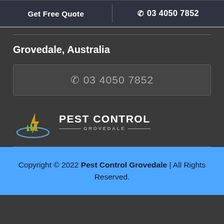Get Free Quote
☎ 03 4050 7852
Grovedale, Australia
☎ 03 4050 7852
[Figure (logo): Pest Control Grovedale logo with lightning bolt and grass graphic]
Copyright © 2022 Pest Control Grovedale | All Rights Reserved.